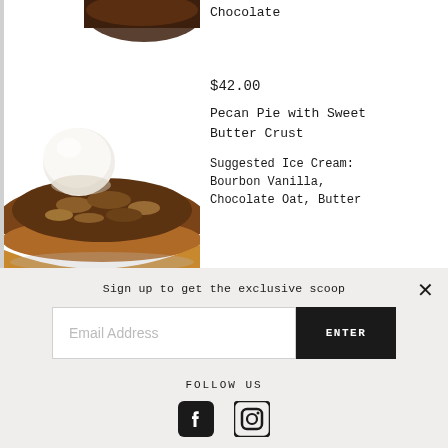[Figure (photo): Partial view of a chocolate pie slice at top, and a pecan pie slice with a scoop of white ice cream on top]
Chocolate
$42.00
Pecan Pie with Sweet Butter Crust
Suggested Ice Cream: Bourbon Vanilla, Chocolate Oat, Butter
Sign up to get the exclusive scoop
Email Address
ENTER
FOLLOW US
[Figure (logo): Facebook and Instagram social media icons]